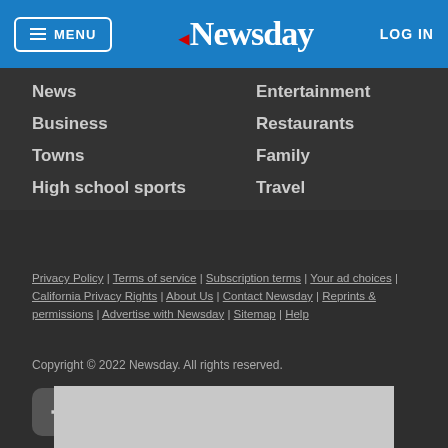MENU | Newsday | LOG IN
News
Entertainment
Business
Restaurants
Towns
Family
High school sports
Travel
Privacy Policy | Terms of service | Subscription terms | Your ad choices | California Privacy Rights | About Us | Contact Newsday | Reprints & permissions | Advertise with Newsday | Sitemap | Help
Copyright © 2022 Newsday. All rights reserved.
[Figure (other): Social media icons: Facebook, Twitter, Instagram]
[Figure (other): Advertisement placeholder banner]